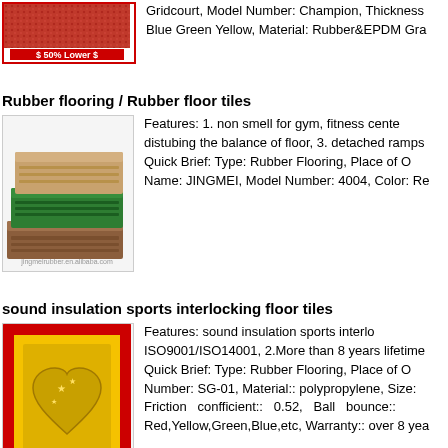[Figure (photo): Red speckled rubber surface product image with red border and '$ 50% Lower $' badge]
Gridcourt, Model Number: Champion, Thickness: ... Blue Green Yellow, Material: Rubber&EPDM Gra...
Rubber flooring / Rubber floor tiles
[Figure (photo): Stacked rubber floor tiles in brown and green colors, product photo with watermark jingmeirubber.en.alibaba.com]
Features: 1. non smell for gym, fitness center... distubing the balance of floor, 3. detached ramps... Quick Brief: Type: Rubber Flooring, Place of O... Name: JINGMEI, Model Number: 4004, Color: Re...
sound insulation sports interlocking floor tiles
[Figure (photo): Yellow and red interlocking floor tile with gold heart design, watermark viz-pro.en.alibaba.com]
Features: sound insulation sports interlo... ISO9001/ISO14001, 2.More than 8 years lifetime... Quick Brief: Type: Rubber Flooring, Place of O... Number: SG-01, Material:: polypropylene, Size:... Friction confficient:: 0.52, Ball bounce::... Red,Yellow,Green,Blue,etc, Warranty:: over 8 yea...